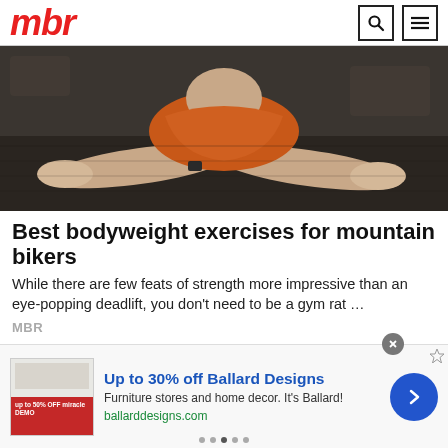mbr
[Figure (photo): Person in orange top doing push-ups on a dark gym floor mat, viewed from above/side angle]
Best bodyweight exercises for mountain bikers
While there are few feats of strength more impressive than an eye-popping deadlift, you don't need to be a gym rat …
MBR
[Figure (photo): Older person with white/grey hair, partial face visible, against a light background]
[Figure (infographic): Advertisement banner: Up to 30% off Ballard Designs. Furniture stores and home decor. It's Ballard! ballarddesigns.com]